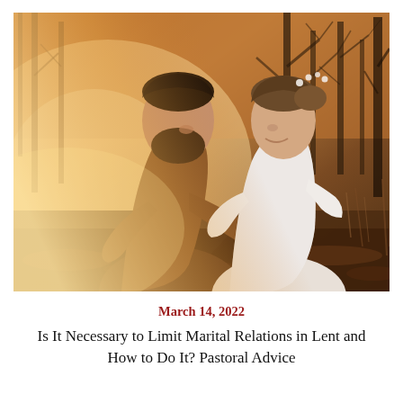[Figure (photo): A couple in an intimate moment outdoors — a man in a brown knit sweater leaning his forehead toward a smiling woman in a white lace dress with a floral hair accessory. Warm golden backlight, bare trees in background, autumn/winter setting.]
March 14, 2022
Is It Necessary to Limit Marital Relations in Lent and How to Do It? Pastoral Advice